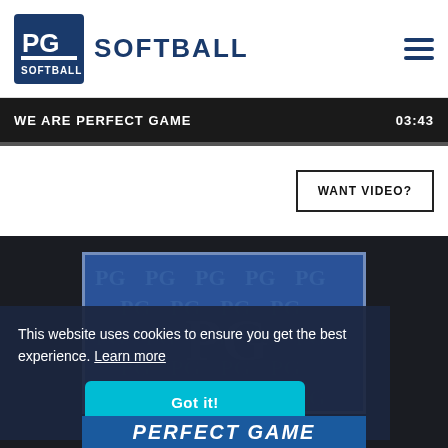PG SOFTBALL
WE ARE PERFECT GAME  03:43
WANT VIDEO?
[Figure (screenshot): Blue card with PG logo pattern watermark tiled in background]
This website uses cookies to ensure you get the best experience. Learn more
Got it!
PERFECT GAME